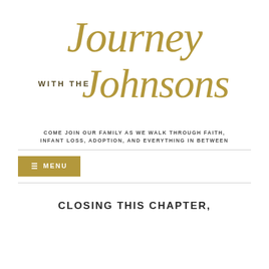[Figure (logo): Decorative calligraphy logo reading 'Journey with the Johnsons' in gold script lettering, with 'WITH THE' in small serif caps]
COME JOIN OUR FAMILY AS WE WALK THROUGH FAITH, INFANT LOSS, ADOPTION, AND EVERYTHING IN BETWEEN
≡ MENU
CLOSING THIS CHAPTER,